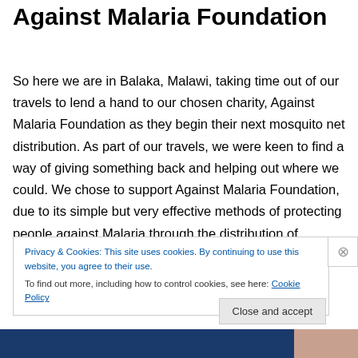Against Malaria Foundation
So here we are in Balaka, Malawi, taking time out of our travels to lend a hand to our chosen charity, Against Malaria Foundation as they begin their next mosquito net distribution. As part of our travels, we were keen to find a way of giving something back and helping out where we could. We chose to support Against Malaria Foundation, due to its simple but very effective methods of protecting people against Malaria through the distribution of mosquito nets. Every net is carefully logged and allocated to heads
Privacy & Cookies: This site uses cookies. By continuing to use this website, you agree to their use.
To find out more, including how to control cookies, see here: Cookie Policy
Close and accept